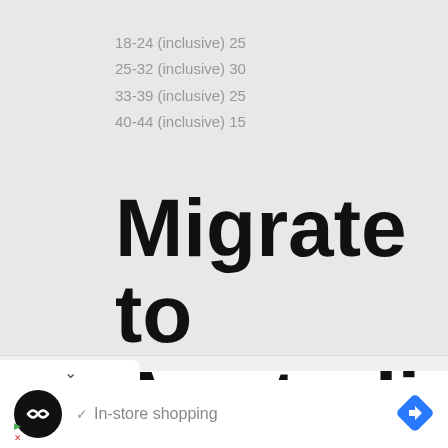18-24 (inclusive) 25
25-32 (inclusive) 30
33-39 (inclusive) 25
40-44 (inclusive) 15
Migrate to Australia
[Figure (screenshot): Bottom UI bar with chevron collapse button, advertisement bar showing a logo, checkmark, 'In-store shopping' text, and a blue navigation arrow icon]